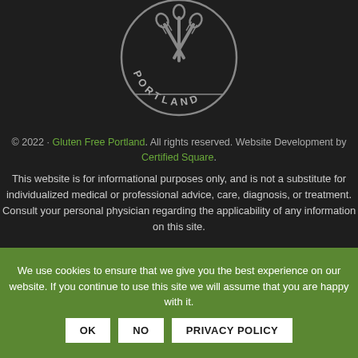[Figure (logo): Circular badge logo with crossed utensils (forks/spoons) and the text PORTLAND at the bottom arc, on a dark background]
© 2022 · Gluten Free Portland. All rights reserved. Website Development by Certified Square.
This website is for informational purposes only, and is not a substitute for individualized medical or professional advice, care, diagnosis, or treatment. Consult your personal physician regarding the applicability of any information on this site.
We use cookies to ensure that we give you the best experience on our website. If you continue to use this site we will assume that you are happy with it.